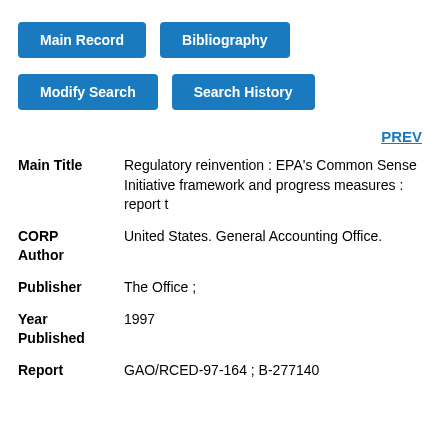Main Record | Bibliography
Modify Search | Search History
PREV
| Field | Value |
| --- | --- |
| Main Title | Regulatory reinvention : EPA's Common Sense Initiative framework and progress measures : report t |
| CORP Author | United States. General Accounting Office. |
| Publisher | The Office ; |
| Year Published | 1997 |
| Report | GAO/RCED-97-164 ; B-277140 |